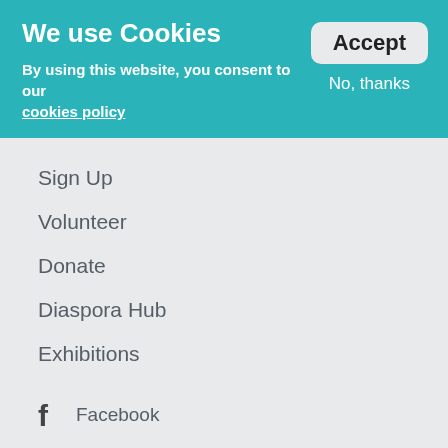We use Cookies
By using this website, you consent to our cookies policy
Accept
No, thanks
Sign Up
Volunteer
Donate
Diaspora Hub
Exhibitions
Facebook
Twitter
Linkedin
Youtube